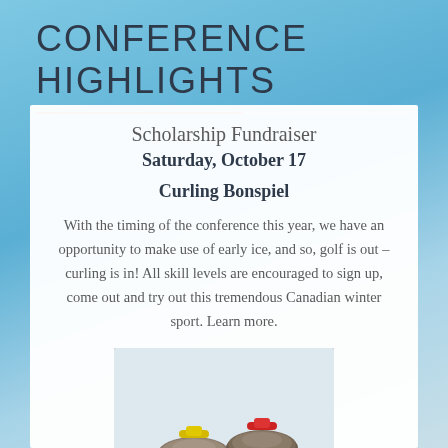CONFERENCE HIGHLIGHTS
Scholarship Fundraiser
Saturday, October 17
Curling Bonspiel
With the timing of the conference this year, we have an opportunity to make use of early ice, and so, golf is out – curling is in! All skill levels are encouraged to sign up, come out and try out this tremendous Canadian winter sport. Learn more.
[Figure (photo): Two curling stones on a curling sheet — one with a yellow handle and one with a red handle]